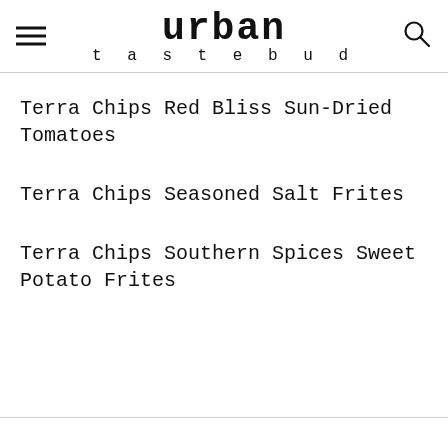urban tastebud
Terra Chips Red Bliss Sun-Dried Tomatoes
Terra Chips Seasoned Salt Frites
Terra Chips Southern Spices Sweet Potato Frites